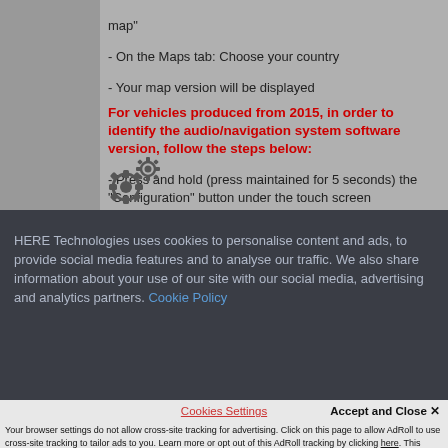map"
- On the Maps tab: Choose your country
- Your map version will be displayed
For vehicles produced from 2015, in order to identify the audio/navigation system software version, follow the steps below:
- Press and hold (press maintained for 5 seconds) the "Configuration" button under the touch screen
[Figure (illustration): Gear/settings icon illustration]
HERE Technologies uses cookies to personalise content and ads, to provide social media features and to analyse our traffic. We also share information about your use of our site with our social media, advertising and analytics partners. Cookie Policy
Cookies Settings
Accept and Close ✕
Your browser settings do not allow cross-site tracking for advertising. Click on this page to allow AdRoll to use cross-site tracking to tailor ads to you. Learn more or opt out of this AdRoll tracking by clicking here. This message only appears once.